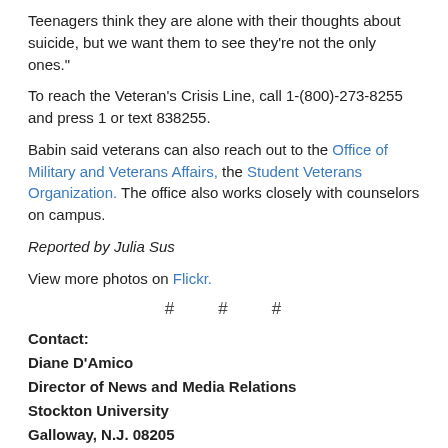Teenagers think they are alone with their thoughts about suicide, but we want them to see they're not the only ones."
To reach the Veteran's Crisis Line, call 1-(800)-273-8255 and press 1 or text 838255.
Babin said veterans can also reach out to the Office of Military and Veterans Affairs, the Student Veterans Organization. The office also works closely with counselors on campus.
Reported by Julia Sus
View more photos on Flickr.
# # #
Contact:
Diane D'Amico
Director of News and Media Relations
Stockton University
Galloway, N.J. 08205
Diane.DAmico@stockton.edu
609-652-4593
609-412-8069
stockton.edu/media